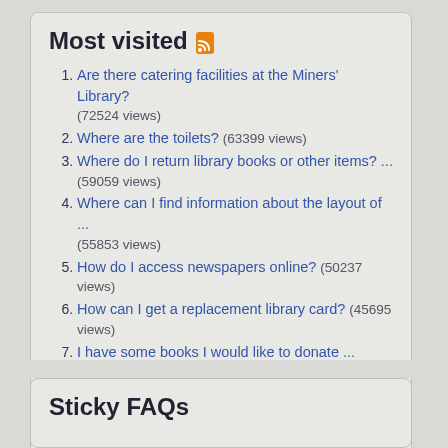Most visited
Are there catering facilities at the Miners' Library? (72524 views)
Where are the toilets? (63399 views)
Where do I return library books or other items? ... (59059 views)
Where can I find information about the layout of ... (55853 views)
How do I access newspapers online? (50237 views)
How can I get a replacement library card? (45695 views)
I have some books I would like to donate ... (43464 views)
When is the Library open? (43244 views)
How can I suggest that a book be bought ... (37732 views)
How do I make a suggestion, complaint or compliment ... (37512 views)
Sticky FAQs